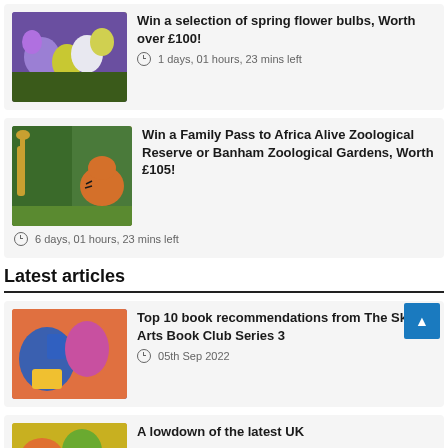[Figure (photo): Spring flower bulbs — purple and yellow flowers]
Win a selection of spring flower bulbs, Worth over £100!
1 days, 01 hours, 23 mins left
[Figure (photo): Zoo animals — giraffe and tiger cub]
Win a Family Pass to Africa Alive Zoological Reserve or Banham Zoological Gardens, Worth £105!
6 days, 01 hours, 23 mins left
Latest articles
[Figure (photo): Person in blue hoodie with book, flowers in background]
Top 10 book recommendations from The Sky Arts Book Club Series 3
05th Sep 2022
[Figure (photo): Colorful flowers or art]
A lowdown of the latest UK